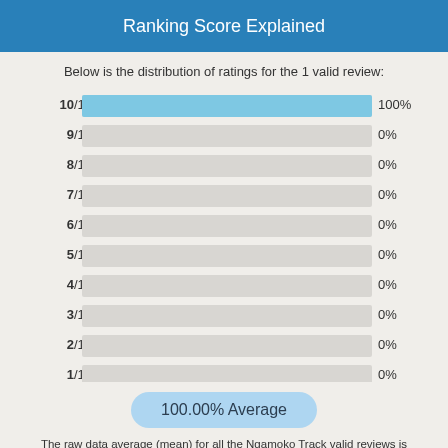Ranking Score Explained
Below is the distribution of ratings for the 1 valid review:
[Figure (bar-chart): Rating distribution]
100.00% Average
The raw data average (mean) for all the Ngamoko Track valid reviews is 100.00% and is based on 1 valid review. This value is not used to calculate the ranking score and it only provided here as a comparison to the weighted average.